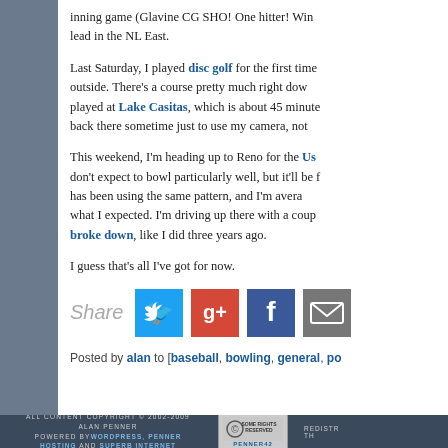inning game (Glavine CG SHO! One hitter! Win lead in the NL East.
Last Saturday, I played disc golf for the first time outside. There's a course pretty much right down played at Lake Casitas, which is about 45 minute back there sometime just to use my camera, not
This weekend, I'm heading up to Reno for the Us don't expect to bowl particularly well, but it'll be f has been using the same pattern, and I'm avera what I expected. I'm driving up there with a coup broke down, like I did three years ago.
I guess that's all I've got for now.
[Figure (infographic): Share buttons row: Share label followed by Twitter (blue), Google+ (red), Facebook (dark blue), Email (grey) icons]
Posted by alan to [baseball, bowling, general, po
ALL CONTENT COPYRIGHT © 2002-2009 ALAN PENNER POWERED BY WORDPRESS, PENNER HOSTING AND SUPERB INTERNET | PENNER42 | REDISTR